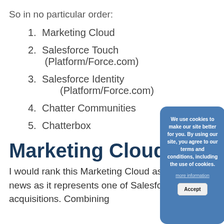So in no particular order:
1. Marketing Cloud
2. Salesforce Touch  (Platform/Force.com)
3. Salesforce Identity (Platform/Force.com)
4. Chatter Communities
5. Chatterbox
Marketing Cloud
I would rank this Marketing Cloud as the biggest news as it represents one of Salesforce's largest acquisitions. Combining
[Figure (other): Cookie consent overlay dialog with text: 'We use cookies to make our site better for you. By using our site, you agree to our terms and conditions, including the use of cookies.' with 'more information' link and 'Accept' button]